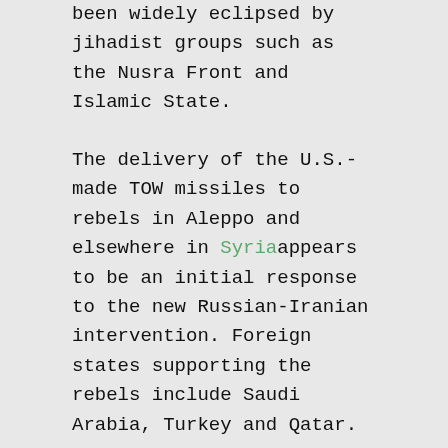been widely eclipsed by jihadist groups such as the Nusra Front and Islamic State.
The delivery of the U.S.-made TOW missiles to rebels in Aleppo and elsewhere in Syria appears to be an initial response to the new Russian-Iranian intervention. Foreign states supporting the rebels include Saudi Arabia, Turkey and Qatar.
But officials from one of the Aleppo-based rebel groups said the supplies were inadequate for the scale of the assault, one of several ground offensives underway with Russian air support.
“A few (TOW missiles) will not do the trick. They need